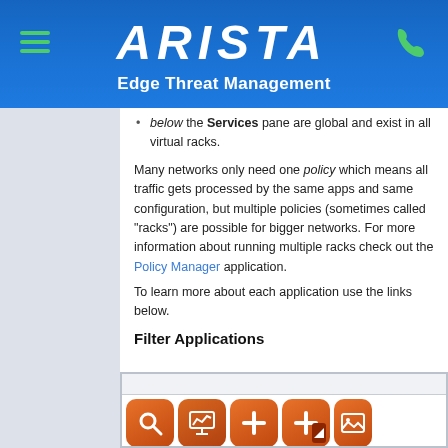ARISTA Edge Threat Management
below the Services pane are global and exist in all virtual racks.
Many networks only need one policy which means all traffic gets processed by the same apps and same configuration, but multiple policies (sometimes called "racks") are possible for bigger networks. For more information about running multiple racks check out the Policy Manager application.
To learn more about each application use the links below.
Filter Applications
[Figure (screenshot): Row of orange application icons in the Filter Applications section, showing magnifying glass, chart/monitor, plus symbol, plus with arrow, and partial image icon]